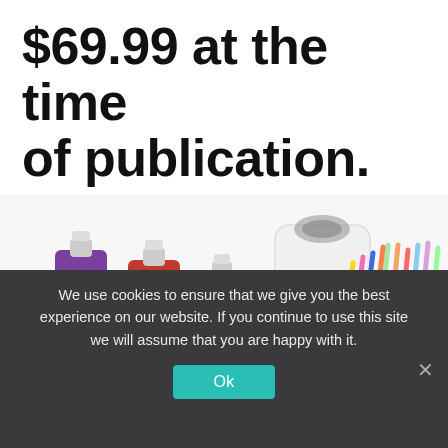$69.99 at the time of publication.
[Figure (photo): Hawaiian shaved ice machine with syrup bottles (purple, red, blue) and colorful straws, white background.]
We use cookies to ensure that we give you the best experience on our website. If you continue to use this site we will assume that you are happy with it.